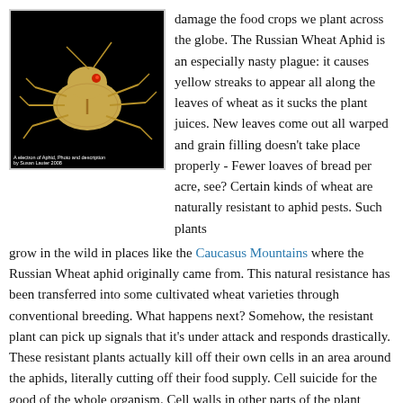[Figure (photo): Close-up macro photograph of a Russian Wheat Aphid on a black background, showing detailed body structure in yellowish-golden tones.]
damage the food crops we plant across the globe. The Russian Wheat Aphid is an especially nasty plague: it causes yellow streaks to appear all along the leaves of wheat as it sucks the plant juices. New leaves come out all warped and grain filling doesn't take place properly - Fewer loaves of bread per acre, see? Certain kinds of wheat are naturally resistant to aphid pests. Such plants grow in the wild in places like the Caucasus Mountains where the Russian Wheat aphid originally came from. This natural resistance has been transferred into some cultivated wheat varieties through conventional breeding. What happens next? Somehow, the resistant plant can pick up signals that it's under attack and responds drastically. These resistant plants actually kill off their own cells in an area around the aphids, literally cutting off their food supply. Cell suicide for the good of the whole organism. Cell walls in other parts of the plant become thickened with deposits, strengthened against subequent probing by the aphids. Hectic molecules like hydrogen peroxide and other free radicals come spilling out of special vesicles in the cells. Some plants become foul tasting to aphids, others actually do something to the aphids themselves, causing them to have fewer offspring. Others just tolerate the aphids and never die. How does this all work? The answer is that we don't know yet. What I'm trying to discover are the changes in gene expression that natural resistance causes. So far, I can see that several known genes are only turned on in the resistant plants, or are turned on faster in these plants when aphids arrive. Oh, and I've discovered 26 new